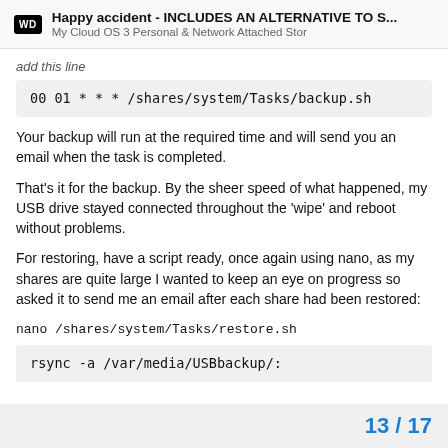Happy accident - INCLUDES AN ALTERNATIVE TO S... | My Cloud OS 3 Personal & Network Attached Stor
add this line
00 01 * * * /shares/system/Tasks/backup.sh
Your backup will run at the required time and will send you an email when the task is completed.
That's it for the backup. By the sheer speed of what happened, my USB drive stayed connected throughout the 'wipe' and reboot without problems.
For restoring, have a script ready, once again using nano, as my shares are quite large I wanted to keep an eye on progress so asked it to send me an email after each share had been restored:
nano /shares/system/Tasks/restore.sh
rsync -a /var/media/USBbackup/:
13 / 17